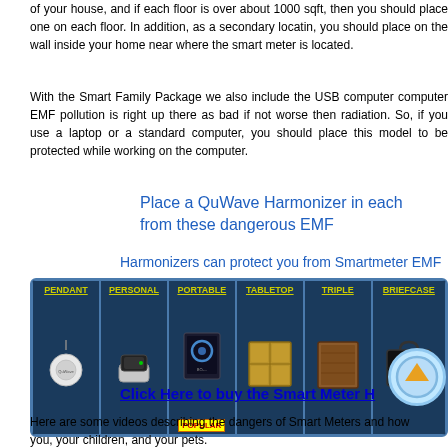of your house, and if each floor is over about 1000 sqft, then you should place one on each floor. In addition, as a secondary locatin, you should place one on the wall inside your home near where the smart meter is located.
With the Smart Family Package we also include the USB computer model as computer EMF pollution is right up there as bad if not worse then smartmeter radiation. So, if you use a laptop or a standard computer, you should place this model to be protected while working on the computer.
Place a QuWave Harmonizer in each room to protect yourself from these dangerous EMF
Harmonizers can protect you from Smartmeter EMF
[Figure (infographic): Product panel showing six QuWave Harmonizer models: PENDANT, PERSONAL, PORTABLE (marked POPULAR), TABLETOP, TRIPLE, BRIEFCASE, displayed as cards with product images on dark blue background]
Click Here to buy the Smart Meter H
Here are some videos describing the dangers of Smart Meters and how they affect you, your children, and your pets.